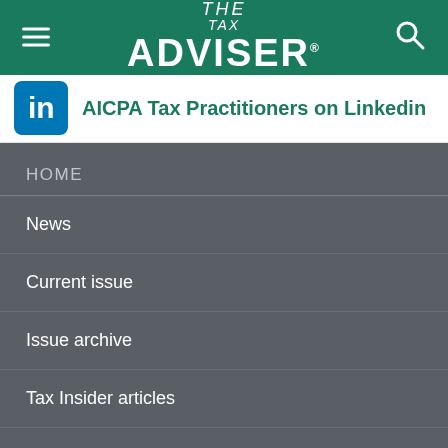THE TAX ADVISER
AICPA Tax Practitioners on Linkedin
HOME
News
Current issue
Issue archive
Tax Insider articles
Document summaries
Site map